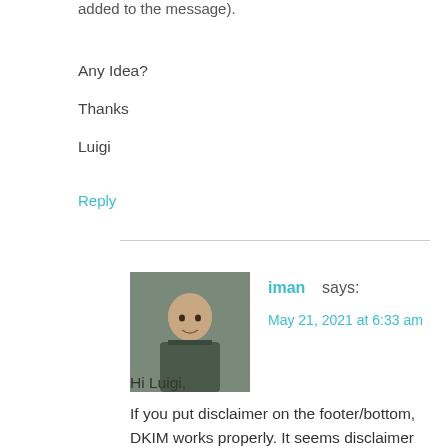added to the message).
Any Idea?
Thanks
Luigi
Reply
iman says:
May 21, 2021 at 6:33 am
Hi Luigi,
If you put disclaimer on the footer/bottom, DKIM works properly. It seems disclaimer breaks DKIM if put on the header